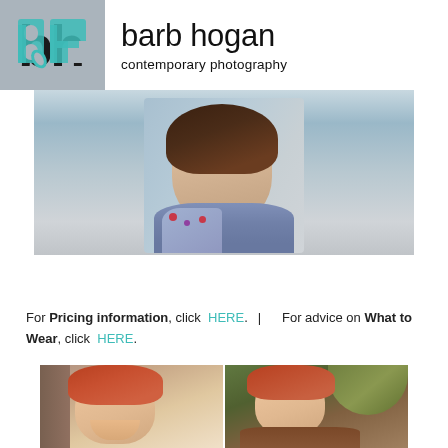[Figure (logo): Barb Hogan Contemporary Photography logo: grey square background with stylized 'bh' letters in teal/cyan color with a leaf motif, next to the text 'barb hogan' in large black sans-serif and 'contemporary photography' below in smaller text]
[Figure (photo): Portrait photo of a young woman with dark wavy hair, wearing a blue floral dress, photographed outdoors with a blurred grey/blue background]
For Pricing information, click HERE.  |    For advice on What to Wear, click HERE.
[Figure (photo): Two side-by-side senior portrait photos of a young woman with red hair: left photo is a close-up portrait against a tree, right photo shows her seated outdoors in autumn foliage wearing a brown jacket]